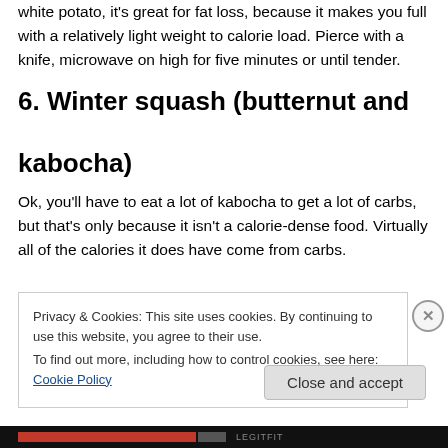white potato, it's great for fat loss, because it makes you full with a relatively light weight to calorie load. Pierce with a knife, microwave on high for five minutes or until tender.
6. Winter squash (butternut and kabocha)
Ok, you'll have to eat a lot of kabocha to get a lot of carbs, but that's only because it isn't a calorie-dense food. Virtually all of the calories it does have come from carbs.
Privacy & Cookies: This site uses cookies. By continuing to use this website, you agree to their use.
To find out more, including how to control cookies, see here: Cookie Policy